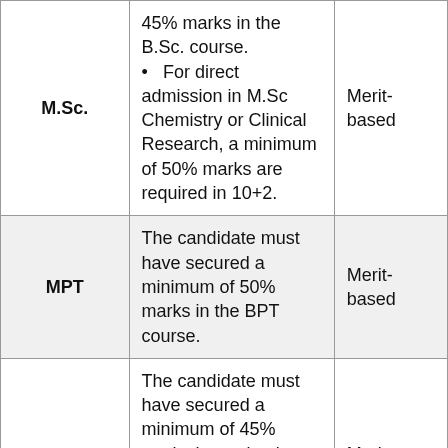| Course | Eligibility | Mode |
| --- | --- | --- |
| M.Sc. | 45% marks in the B.Sc. course.
• For direct admission in M.Sc Chemistry or Clinical Research, a minimum of 50% marks are required in 10+2. | Merit-based |
| MPT | The candidate must have secured a minimum of 50% marks in the BPT course. | Merit-based |
| MBA | The candidate must have secured a minimum of 45% marks in graduation courses with specialization in Healthcare and Hospital | Merit-based |